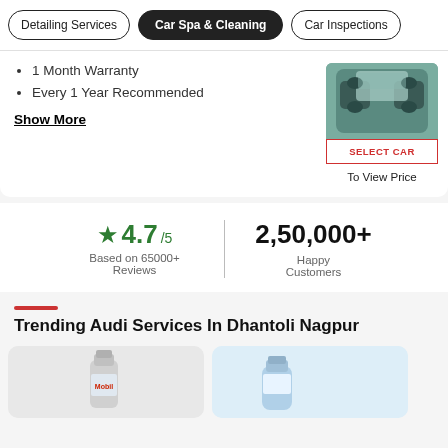Detailing Services | Car Spa & Cleaning | Car Inspections
1 Month Warranty
Every 1 Year Recommended
Show More
[Figure (photo): Car interior viewed from above showing seats and sunroof, with a SELECT CAR button overlay]
SELECT CAR
To View Price
4.7/5 Based on 65000+ Reviews
2,50,000+ Happy Customers
Trending Audi Services In Dhantoli Nagpur
[Figure (photo): Mobil engine oil bottle thumbnail]
[Figure (photo): Partially visible second service thumbnail]